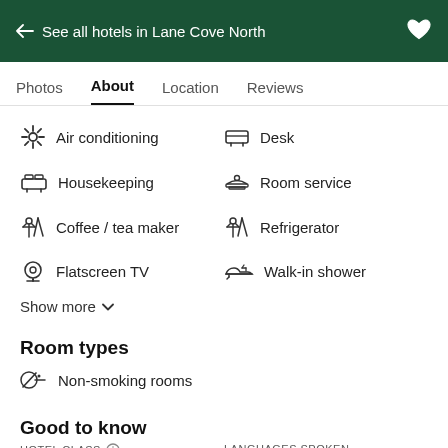← See all hotels in Lane Cove North
Photos  About  Location  Reviews
Air conditioning
Desk
Housekeeping
Room service
Coffee / tea maker
Refrigerator
Flatscreen TV
Walk-in shower
Show more
Room types
Non-smoking rooms
Good to know
HOTEL CLASS   LANGUAGES SPOKEN